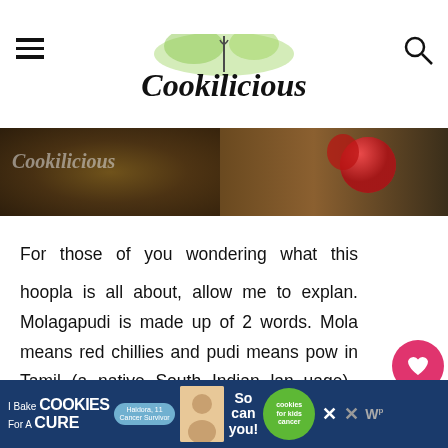Cookilicious
[Figure (photo): Hero banner image showing Cookilicious blog header with food background, tomatoes visible, dark background strip with Cookilicious text overlaid]
For those of you wondering what this hoopla is all about, allow me to explain. Molagapudi is made up of 2 words. Mola means red chillies and pudi means powder in Tamil (a native South Indian language). This spice powder is extensively used in South Indian cooking. It's freshly prepared a...
[Figure (infographic): Advertisement bar at bottom: I Bake COOKIES For A CURE with Haidora, 11 Cancer Survivor badge and So can you cookies for kids cancer green circle]
[Figure (infographic): WHAT'S NEXT panel showing Kale Adai | Kale & Lentil...]